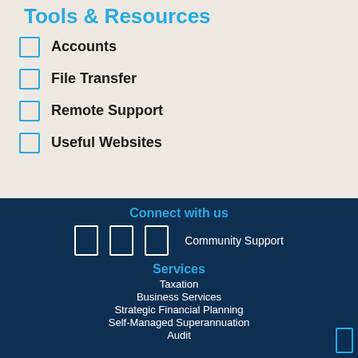Tools & Resources
Accounts
File Transfer
Remote Support
Useful Websites
Connect with us
Community Support
Services
Taxation
Business Services
Strategic Financial Planning
Self-Managed Superannuation
Audit